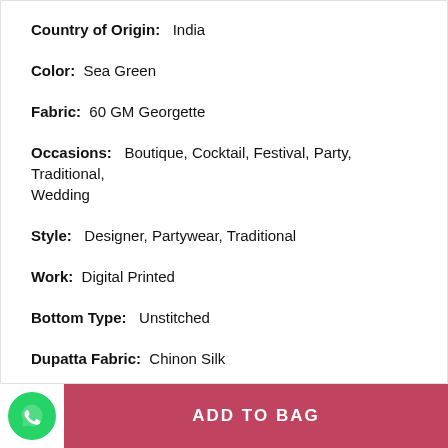Country of Origin:  India
Color:  Sea Green
Fabric:  60 GM Georgette
Occasions:  Boutique, Cocktail, Festival, Party, Traditional, Wedding
Style:  Designer, Partywear, Traditional
Work:  Digital Printed
Bottom Type:  Unstitched
Dupatta Fabric:  Chinon Silk
Bottom Fabric:  Santoon
ADD TO BAG